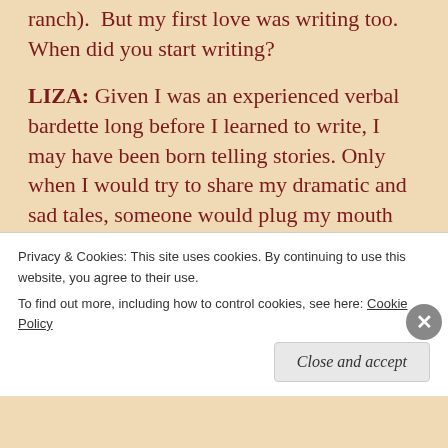ranch). But my first love was writing too. When did you start writing?
LIZA: Given I was an experienced verbal bardette long before I learned to write, I may have been born telling stories. Only when I would try to share my dramatic and sad tales, someone would plug my mouth with a bottle or pacifier and change my diaper.
However, once my ability to spell got beyond ‘See Spot Run, run Spot run’, I shifted to the pencil and notebook, although I lacked the sense to keep my writings from those early
Privacy & Cookies: This site uses cookies. By continuing to use this website, you agree to their use.
To find out more, including how to control cookies, see here: Cookie Policy
Close and accept